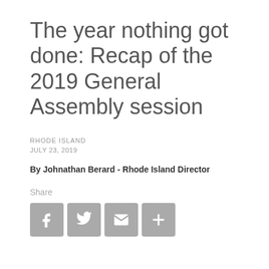The year nothing got done: Recap of the 2019 General Assembly session
RHODE ISLAND
JULY 23, 2019
By Johnathan Berard - Rhode Island Director
Share